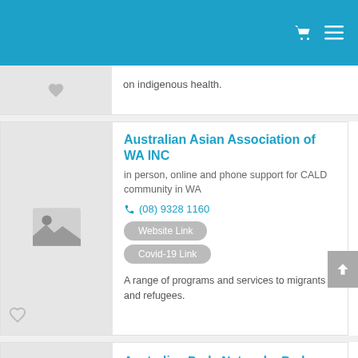on indigenous health.
Australian Asian Association of WA INC
in person, online and phone support for CALD community in WA
(08) 9328 1160
Website Link
Covid-19 Link
A range of programs and services to migrants and refugees.
Australian Dads Network - Dads Only Your Born...